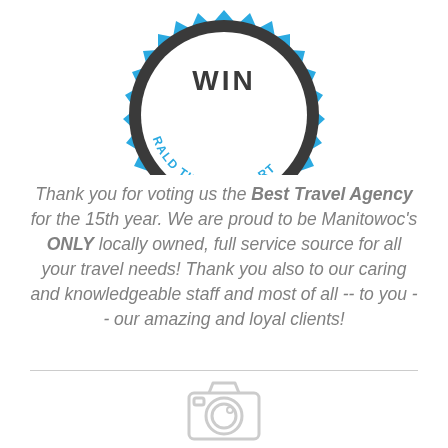[Figure (logo): Partial badge/seal award logo in blue and dark gray. Text reads 'WIN' at top and 'RALD TIMES REPORT' along the arc of the badge. The badge has a scalloped/jagged edge and is cropped at the top of the image.]
Thank you for voting us the Best Travel Agency for the 15th year. We are proud to be Manitowoc's ONLY locally owned, full service source for all your travel needs! Thank you also to our caring and knowledgeable staff and most of all -- to you -- our amazing and loyal clients!
[Figure (illustration): Camera icon placeholder image in light gray, indicating a missing or placeholder photo.]